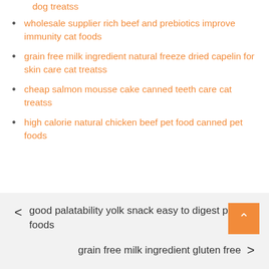dog treatss
wholesale supplier rich beef and prebiotics improve immunity cat foods
grain free milk ingredient natural freeze dried capelin for skin care cat treatss
cheap salmon mousse cake canned teeth care cat treatss
high calorie natural chicken beef pet food canned pet foods
< good palatability yolk snack easy to digest pet foods
grain free milk ingredient gluten free >